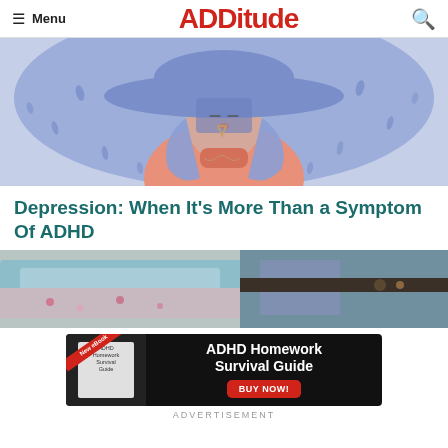Menu | ADDitude
[Figure (illustration): Illustration of a woman with large blue hat and blue hair in the rain, wearing a coral/pink turtleneck sweater, looking downward with eyes closed — symbolizing depression]
Depression: When It’s More Than a Symptom Of ADHD
[Figure (photo): Photo of folded clothing items — jeans and floral fabric — on a surface]
[Figure (infographic): Advertisement banner for ADHD Homework Survival Guide eBook with BUY NOW button]
ADVERTISEMENT